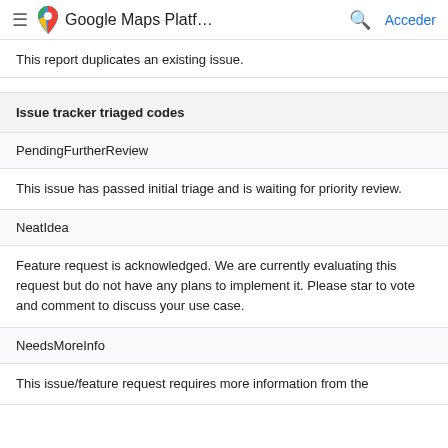Google Maps Platf… | Acceder
This report duplicates an existing issue.
Issue tracker triaged codes
PendingFurtherReview
This issue has passed initial triage and is waiting for priority review.
NeatIdea
Feature request is acknowledged. We are currently evaluating this request but do not have any plans to implement it. Please star to vote and comment to discuss your use case.
NeedsMoreInfo
This issue/feature request requires more information from the